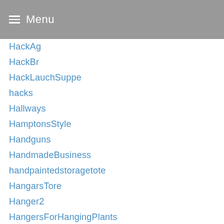Menu
HackAg
HackBr
HackLauchSuppe
hacks
Hallways
HamptonsStyle
Handguns
HandmadeBusiness
handpaintedstoragetote
HangarsTore
Hanger2
HangersForHangingPlants
HangersOnly
HangingBasketEinsatz
HangingBasketKaufen
HangingBasketLiner
hangingpanel